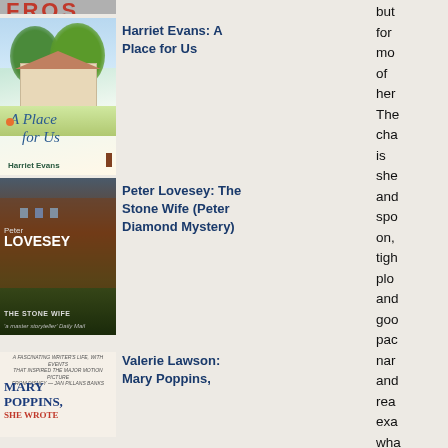[Figure (photo): Partial book cover visible at top of page, red background with partial text visible]
[Figure (photo): Book cover: Harriet Evans - A Place for Us, illustrated cover with tropical trees and house]
Harriet Evans: A Place for Us
[Figure (photo): Book cover: Peter Lovesey - The Stone Wife, dark atmospheric photo of a red brick building]
Peter Lovesey: The Stone Wife (Peter Diamond Mystery)
[Figure (photo): Book cover: Valerie Lawson - Mary Poppins, She Wrote]
Valerie Lawson: Mary Poppins,
but
for
mo
of
her
The
cha
is
she
and
spo
on,
tigh
plo
and
goo
pac
nar
and
rea
exa
wha
an
Fro